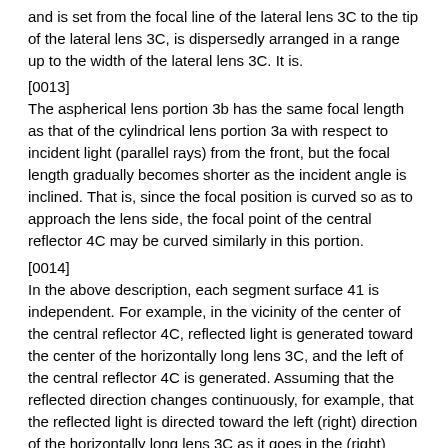and is set from the focal line of the lateral lens 3C to the tip of the lateral lens 3C, is dispersedly arranged in a range up to the width of the lateral lens 3C. It is.
[0013]
The aspherical lens portion 3b has the same focal length as that of the cylindrical lens portion 3a with respect to incident light (parallel rays) from the front, but the focal length gradually becomes shorter as the incident angle is inclined. That is, since the focal position is curved so as to approach the lens side, the focal point of the central reflector 4C may be curved similarly in this portion.
[0014]
In the above description, each segment surface 41 is independent. For example, in the vicinity of the center of the central reflector 4C, reflected light is generated toward the center of the horizontally long lens 3C, and the left of the central reflector 4C is generated. Assuming that the reflected direction changes continuously, for example, that the reflected light is directed toward the left (right) direction of the horizontally long lens 3C as it goes in the (right) direction, each segment surface 41 has a steep difference such as a step. No change occurs, and a free-